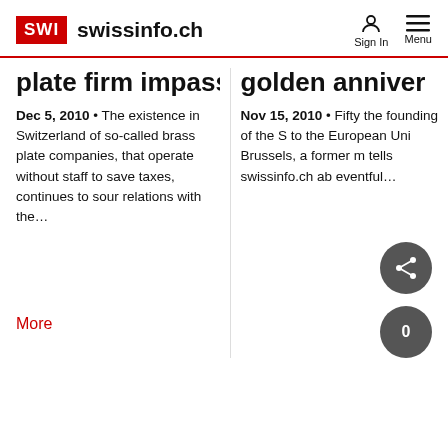SWI swissinfo.ch | Sign In | Menu
plate firm impasse
Dec 5, 2010  • The existence in Switzerland of so-called brass plate companies, that operate without staff to save taxes, continues to sour relations with the...
golden anniver
Nov 15, 2010  • Fifty the founding of the S to the European Uni Brussels, a former m tells swissinfo.ch ab eventful...
More
[Figure (illustration): Share button (dark circle with share icon) and comment button (dark circle with 0)]